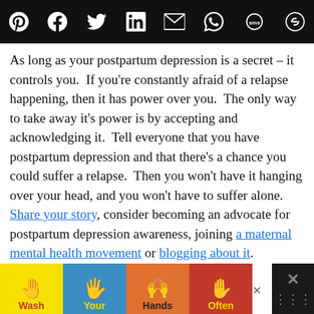Social share icons bar (Pinterest, Facebook, Twitter, LinkedIn, Email, WhatsApp, SMS, copy)
As long as your postpartum depression is a secret – it controls you.  If you're constantly afraid of a relapse happening, then it has power over you.  The only way to take away it's power is by accepting and acknowledging it.  Tell everyone that you have postpartum depression and that there's a chance you could suffer a relapse.  Then you won't have it hanging over your head, and you won't have to suffer alone.  Share your story, consider becoming an advocate for postpartum depression awareness, joining a maternal mental health movement or blogging about it.
[Figure (infographic): Wash Your Hands Often public health advertisement banner with hand-washing icons in yellow, blue, orange, and red segments]